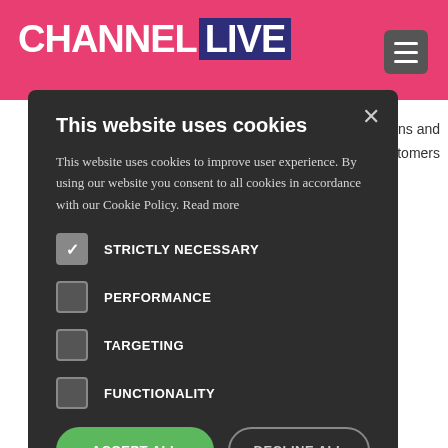CHANNEL LIVE
[Figure (screenshot): Cookie consent modal dialog on ChannelLive website with options for strictly necessary, performance, targeting, and functionality cookies, and buttons to accept all or decline all.]
nications and customers
Secure IT Services